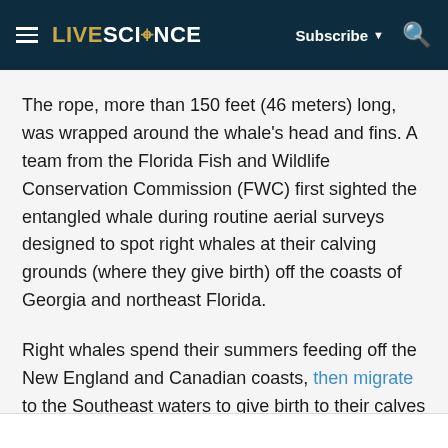LIVESCIENCE | Subscribe | Search
The rope, more than 150 feet (46 meters) long, was wrapped around the whale's head and fins. A team from the Florida Fish and Wildlife Conservation Commission (FWC) first sighted the entangled whale during routine aerial surveys designed to spot right whales at their calving grounds (where they give birth) off the coasts of Georgia and northeast Florida.
Right whales spend their summers feeding off the New England and Canadian coasts, then migrate to the Southeast waters to give birth to their calves from mid-November through mid-April.